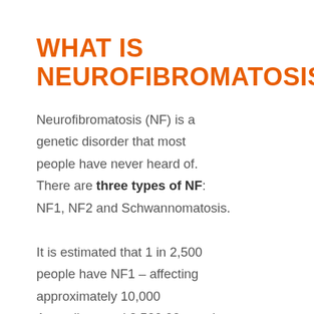WHAT IS NEUROFIBROMATOSIS?
Neurofibromatosis (NF) is a genetic disorder that most people have never heard of. There are three types of NF: NF1, NF2 and Schwannomatosis.
It is estimated that 1 in 2,500 people have NF1 – affecting approximately 10,000 Australians and 2,500,00 people worldwide.